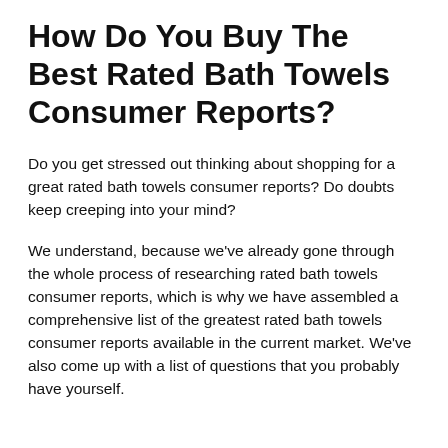How Do You Buy The Best Rated Bath Towels Consumer Reports?
Do you get stressed out thinking about shopping for a great rated bath towels consumer reports? Do doubts keep creeping into your mind?
We understand, because we've already gone through the whole process of researching rated bath towels consumer reports, which is why we have assembled a comprehensive list of the greatest rated bath towels consumer reports available in the current market. We've also come up with a list of questions that you probably have yourself.